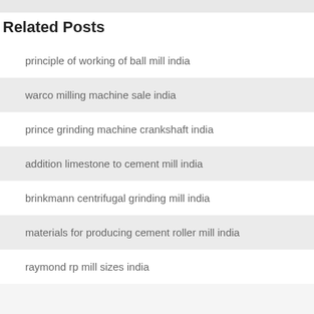Related Posts
principle of working of ball mill india
warco milling machine sale india
prince grinding machine crankshaft india
addition limestone to cement mill india
brinkmann centrifugal grinding mill india
materials for producing cement roller mill india
raymond rp mill sizes india